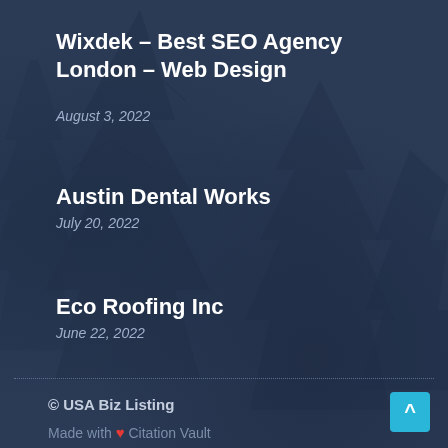Wixdek – Best SEO Agency London – Web Design
August 3, 2022
Austin Dental Works
July 20, 2022
Eco Roofing Inc
June 22, 2022
© USA Biz Listing
Made with ❤ Citation Vault